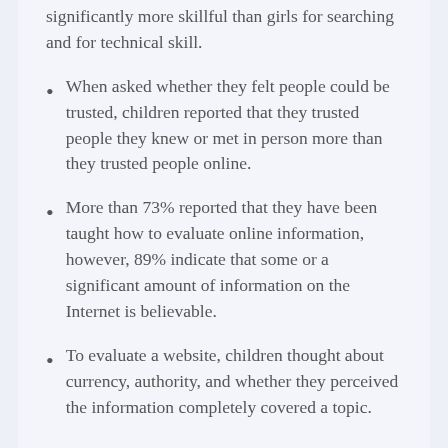significantly more skillful than girls for searching and for technical skill.
When asked whether they felt people could be trusted, children reported that they trusted people they knew or met in person more than they trusted people online.
More than 73% reported that they have been taught how to evaluate online information, however, 89% indicate that some or a significant amount of information on the Internet is believable.
To evaluate a website, children thought about currency, authority, and whether they perceived the information completely covered a topic.